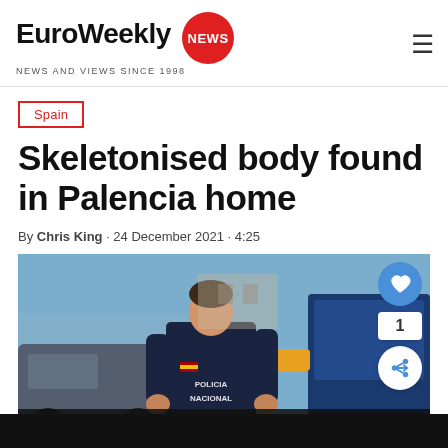EuroWeekly NEWS — NEWS AND VIEWS SINCE 1998
Spain
Skeletonised body found in Palencia home
By Chris King · 24 December 2021 · 4:25
[Figure (photo): A Policia Nacional officer wearing a dark navy uniform with 'POLICIA NACIONAL' and Spanish flag patch, seen from behind, reaching into a vehicle. Blue cars visible in background.]